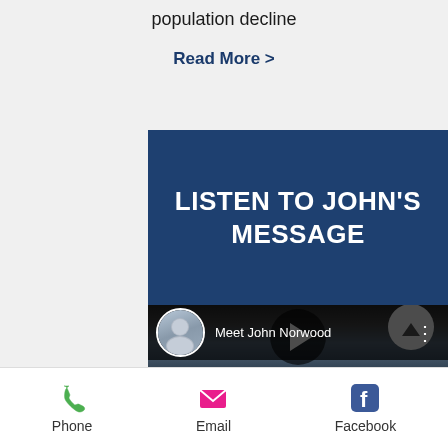population decline
Read More >
LISTEN TO JOHN'S MESSAGE
[Figure (screenshot): YouTube-style video thumbnail showing 'Meet John Norwood' with a profile avatar, play button overlay, and a man smiling outdoors in a field]
Phone  Email  Facebook